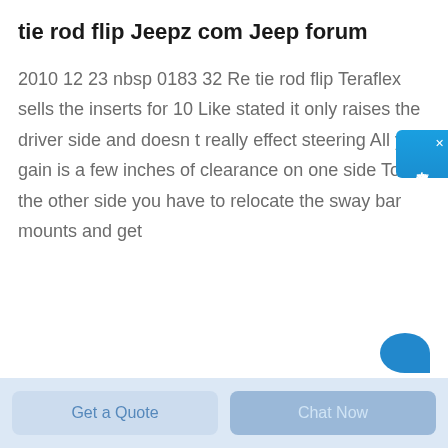tie rod flip Jeepz com Jeep forum
2010 12 23 nbsp 0183 32 Re tie rod flip Teraflex sells the inserts for 10 Like stated it only raises the driver side and doesn t really effect steering All you gain is a few inches of clearance on one side To do the other side you have to relocate the sway bar mounts and get
Get a Quote
Chat Now